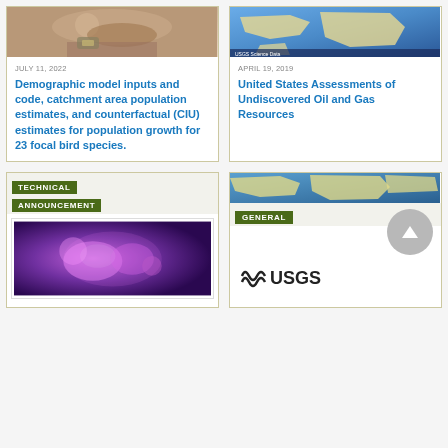[Figure (photo): Close-up photo of a bird, upper left card]
JULY 11, 2022
Demographic model inputs and code, catchment area population estimates, and counterfactual (CIU) estimates for population growth for 23 focal bird species.
[Figure (screenshot): Map or data visualization, upper right card]
APRIL 19, 2019
United States Assessments of Undiscovered Oil and Gas Resources
TECHNICAL ANNOUNCEMENT
[Figure (photo): Photo of animals or scientific subject, lower left card]
GENERAL
[Figure (logo): USGS logo with back-to-top button, lower right card]